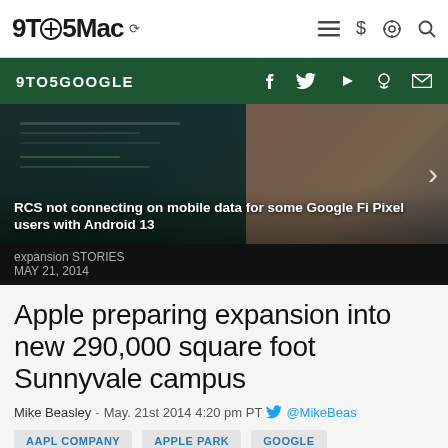9TO5Mac
[Figure (screenshot): 9to5Google green navigation bar with social media icons (Facebook, Twitter, YouTube, Podcast, Email)]
[Figure (photo): Dark smartphone photo showing Android screen with article headline: RCS not connecting on mobile data for some Google Fi Pixel users with Android 13]
expansion STORIES
MAY 21, 2014
Apple preparing expansion into new 290,000 square foot Sunnyvale campus
Mike Beasley - May. 21st 2014 4:20 pm PT @MikeBeas
AAPL COMPANY
APPLE PARK
GOOGLE
Comments (1)